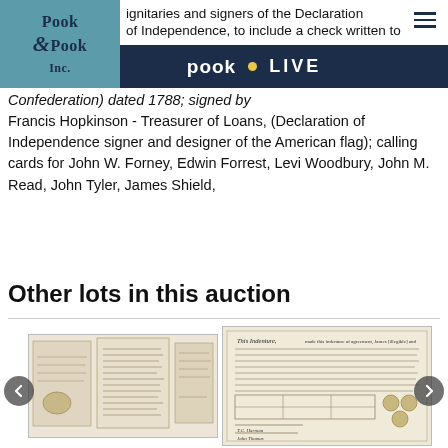Pook & Pook Inc. — pook LIVE
ignitaries and signers of the Declaration of Independence, to include a check written to Joseph ... Confederation) dated 1788; signed by Francis Hopkinson - Treasurer of Loans, (Declaration of Independence signer and designer of the American flag); calling cards for John W. Forney, Edwin Forrest, Levi Woodbury, John M. Read, John Tyler, James Shield,
Other lots in this auction
[Figure (photo): Old handwritten document pages, folded and spread open, showing aged paper with cursive text]
[Figure (photo): Printed indenture document dated, titled 'This Indenture', with handwritten fill-in portions, official seals, and signatures at the bottom]